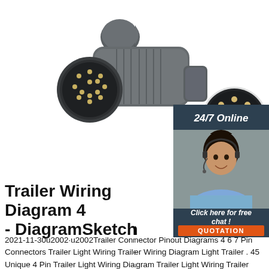[Figure (photo): Photo of a 13-pin trailer connector plug (gray/black plastic) with a circular pin insert shown separately, displayed on white background]
[Figure (photo): 24/7 Online chat banner with woman wearing headset smiling, dark blue background, orange QUOTATION button and 'Click here for free chat!' text]
Trailer Wiring Diagram 4 - DiagramSketch
2021-11-30u2002·u2002Trailer Connector Pinout Diagrams 4 6 7 Pin Connectors Trailer Light Wiring Trailer Wiring Diagram Light Trailer . 45 Unique 4 Pin Trailer Light Wiring Diagram Trailer Light Wiring Trailer Wiring Diagram Boat Trailer Lights . Kamar Dinding Bertema Kartun Chil97